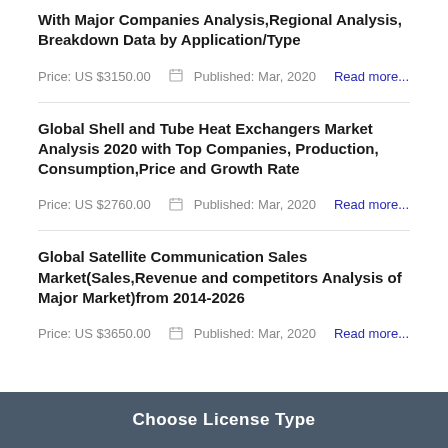With Major Companies Analysis,Regional Analysis, Breakdown Data by Application/Type
Price: US $3150.00   Published: Mar, 2020   Read more...
Global Shell and Tube Heat Exchangers Market Analysis 2020 with Top Companies, Production, Consumption,Price and Growth Rate
Price: US $2760.00   Published: Mar, 2020   Read more...
Global Satellite Communication Sales Market(Sales,Revenue and competitors Analysis of Major Market)from 2014-2026
Price: US $3650.00   Published: Mar, 2020   Read more...
Choose License Type